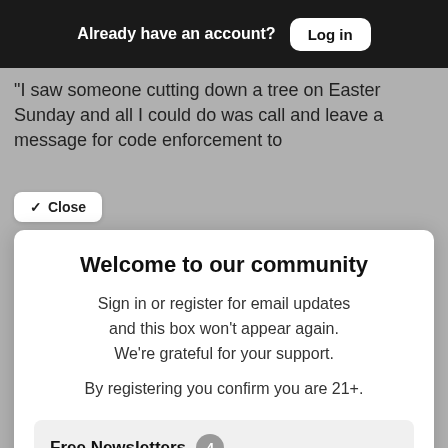Already have an account? Log in
"I saw someone cutting down a tree on Easter Sunday and all I could do was call and leave a message for code enforcement to
Close
Welcome to our community
Sign in or register for email updates and this box won't appear again. We're grateful for your support.
By registering you confirm you are 21+.
Free Newsletters 4
San Jose Inside Newsletter (weekly)
News and politics from the capital